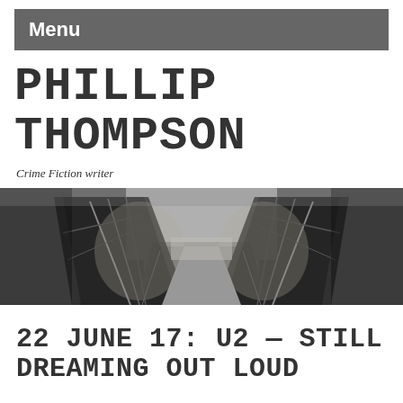Menu
PHILLIP THOMPSON
Crime Fiction writer
[Figure (photo): Black and white photograph of a wooden railroad bridge or trestle viewed from the center, with iron/steel lattice arch structures on both sides converging toward a vanishing point. Trees and bare branches are visible on either side. The image has a moody, atmospheric quality.]
22 JUNE 17: U2 — STILL DREAMING OUT LOUD